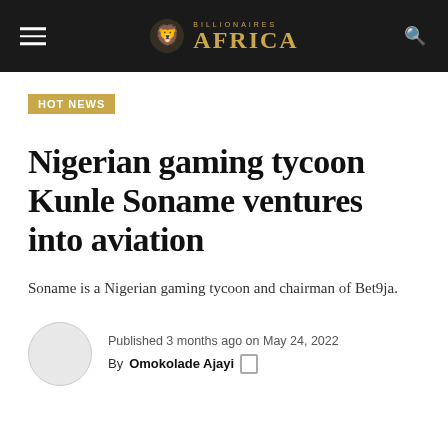BILLIONAIRES AFRICA
HOT NEWS
Nigerian gaming tycoon Kunle Soname ventures into aviation
Soname is a Nigerian gaming tycoon and chairman of Bet9ja.
Published 3 months ago on May 24, 2022
By Omokolade Ajayi